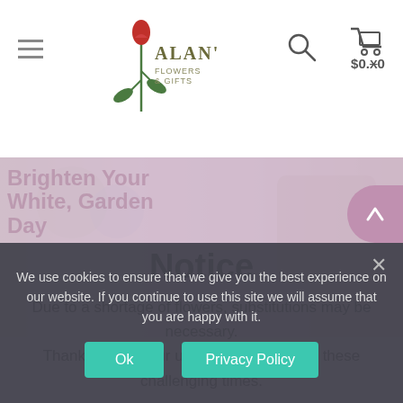Alan's Flowers & Gifts — $0.00 cart
[Figure (screenshot): Hero background image with flowers and basket]
Notice
Due to a shortage of flowers, substitutions may be necessary. Thank you for your understanding during these challenging times.
Close
Brighten Your White, Garden Day $73.95 – $153.95
$68.95 – $138.95
SELECT OPTIONS
SELECT OPTIONS
We use cookies to ensure that we give you the best experience on our website. If you continue to use this site we will assume that you are happy with it.
Ok
Privacy Policy